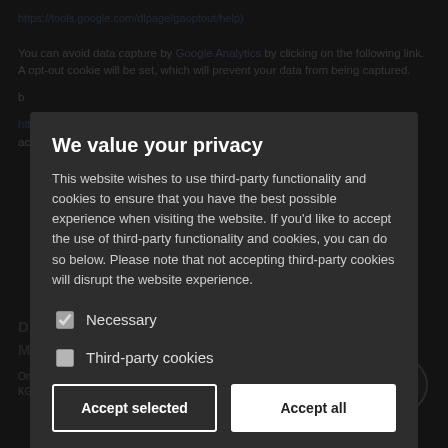We value your privacy
This website wishes to use third-party functionality and cookies to ensure that you have the best possible experience when visiting the website. If you'd like to accept the use of third-party functionality and cookies, you can do so below. Please note that not accepting third-party cookies will disrupt the website experience.
Necessary
Third-party cookies
Accept selected
Accept all